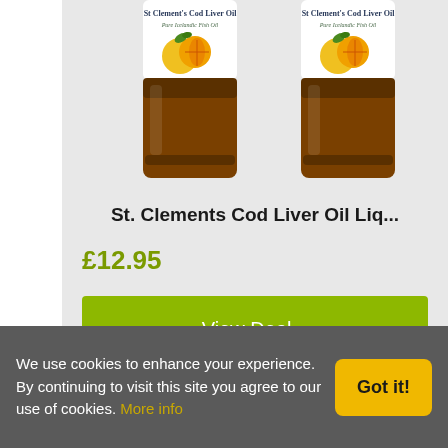[Figure (photo): Two amber bottles of St Clement's Cod Liver Oil with lemon/orange graphics and labels reading 'St Clement's Cod Liver Oil, Pure Icelandic Fish Oil']
St. Clements Cod Liver Oil Liq...
£12.95
View Deal »
We use cookies to enhance your experience. By continuing to visit this site you agree to our use of cookies. More info
Got it!